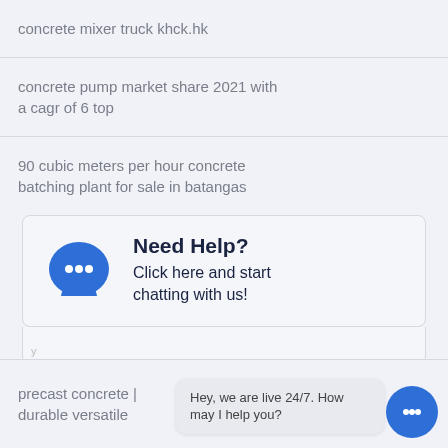concrete mixer truck khck.hk
concrete pump market share 2021 with a cagr of 6 top
90 cubic meters per hour concrete batching plant for sale in batangas
[Figure (other): Live chat widget box with blue speech bubble icon and text 'Need Help? Click here and start chatting with us!']
precast concrete | durable versatile
[Figure (other): Chat popup with text 'Hey, we are live 24/7. How may I help you?' and blue chat button circle]